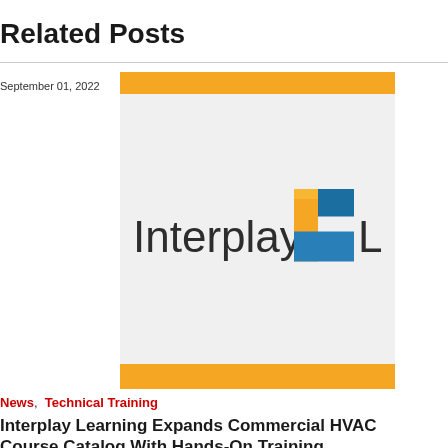Related Posts
September 01, 2022
[Figure (logo): Interplay Learning logo with orange and blue 3D 'L' shape icon between the words 'Interplay' and 'Learning']
News,  Technical Training
Interplay Learning Expands Commercial HVAC Course Catalog With Hands-On Training